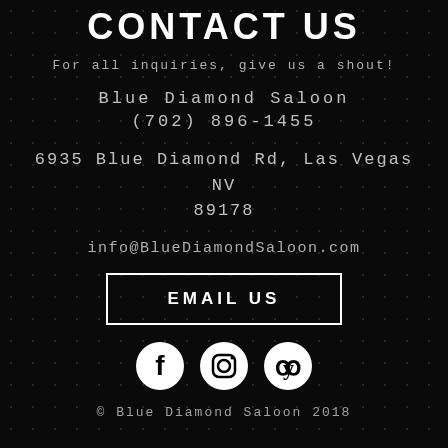CONTACT US
For all inquiries, give us a shout!
Blue Diamond Saloon
(702) 896-1455
6935 Blue Diamond Rd, Las Vegas NV 89178
info@BlueDiamondSaloon.com
EMAIL US
[Figure (logo): Social media icons: Facebook, Instagram, Yelp — white circles on black background]
© Blue Diamond Saloon 2018